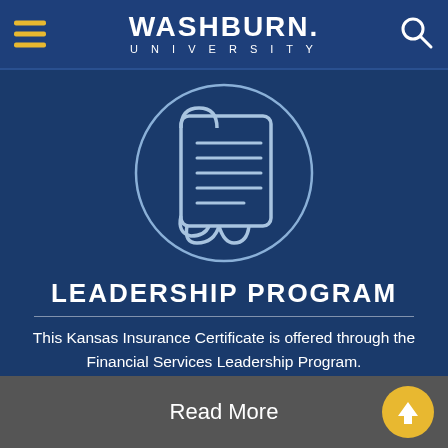WASHBURN UNIVERSITY
[Figure (illustration): Circular icon with a scroll/document illustration in light blue outline on dark blue background]
LEADERSHIP PROGRAM
This Kansas Insurance Certificate is offered through the Financial Services Leadership Program.
Read More